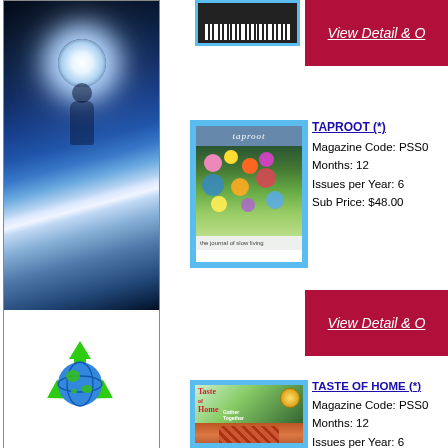[Figure (photo): Abstract glowing blue light background image]
[Figure (photo): Magazine cover (partial, top crop) - dark/blue themed]
View Detail & O
[Figure (photo): TAPROOT magazine cover showing garden/flowers with blue border]
TAPROOT (*)
Magazine Code: PSS0
Months: 12
Issues per Year: 6
Sub Price: $48.00
View Detail & O
[Figure (photo): Taste of Home magazine cover showing pie]
TASTE OF HOME (*)
Magazine Code: PSS0
Months: 12
Issues per Year: 6
Sub Price: $19.98
View Detail & O
[Figure (photo): TD&T magazine cover (td&t branding, 2014)]
TD&T (*)
Magazine Code: 61739
Months: 12